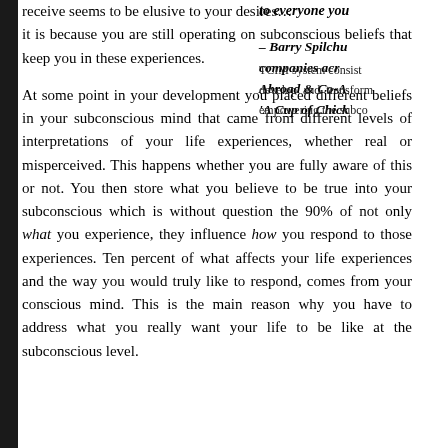receive seems to be elusive to your desires… it is because you are still operating on subconscious beliefs that keep you in these experiences.
At some point in your development you placed different beliefs in your subconscious mind that came from different levels of interpretations of your life experiences, whether real or misperceived. This happens whether you are fully aware of this or not. You then store what you believe to be true into your subconscious which is without question the 90% of not only what you experience, they influence how you respond to those experiences. Ten percent of what affects your life experiences and the way you would truly like to respond, comes from your conscious mind. This is the main reason why you have to address what you really want your life to be like at the subconscious level.
to everyone you
– Barry Spilchuk companies acr Abroad & Co-A 'A Cup of Chick
TCIM system consist develop and transform empowering the subco